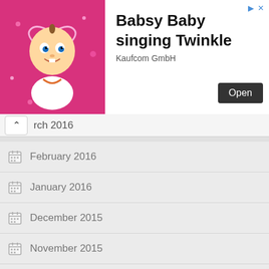[Figure (illustration): Advertisement banner: cartoon baby character with heart halo on pink background, for 'Babsy Baby singing Twinkle' by Kaufcom GmbH, with an Open button and corner ad icons]
March 2016
February 2016
January 2016
December 2015
November 2015
October 2015
September 2015
August 2015